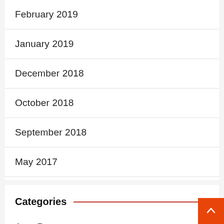February 2019
January 2019
December 2018
October 2018
September 2018
May 2017
Categories
Auto Parts
Automotive